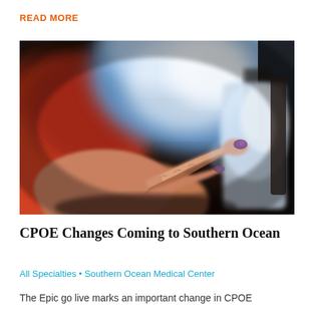READ MORE
[Figure (photo): Close-up photograph of a woman's hand with painted fingernails touching or tapping a tablet screen, with a blurred background.]
CPOE Changes Coming to Southern Ocean
All Specialties • Southern Ocean Medical Center
The Epic go live marks an important change in CPOE